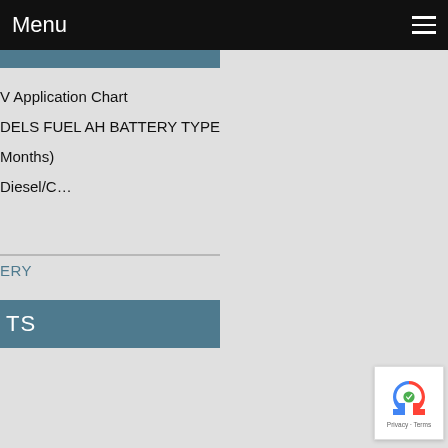Menu
V Application Chart
DELS FUEL AH BATTERY TYPE
Months)
Diesel/C...
ERY
TS
[Figure (logo): reCAPTCHA badge with Google reCAPTCHA icon and Privacy - Terms text]